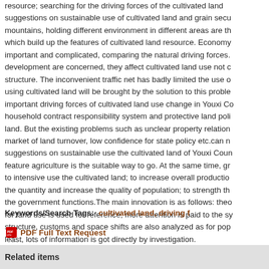resource; searching for the driving forces of the cultivated land suggestions on sustainable use of cultivated land and grain secu mountains, holding different environment in different areas are th which build up the features of cultivated land resource. Economy important and complicated, comparing the natural driving forces. development are concerned, they affect cultivated land use not c structure. The inconvenient traffic net has badly limited the use o using cultivated land will be brought by the solution to this proble important driving forces of cultivated land use change in Youxi Co household contract responsibility system and protective land poli land. But the existing problems such as unclear property relation market of land turnover, low confidence for state policy etc.can n suggestions on sustainable use the cultivated land of Youxi Cour feature agriculture is the suitable way to go. At the same time, gr to intensive use the cultivated land; to increase overall productio the quantity and increase the quality of population; to strength th the government functions.The main innovation is as follows: theo for land use is used for reference; more attention is paid to the sy structure, customs and space shifts are also analyzed as for pop least, lots of information is got directly by investigation.
Keywords/Search Tags: cultivated land, driving f
PDF Full Text Request
Related items